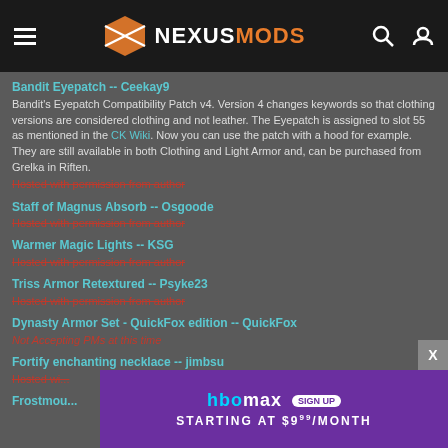NexusMods
Bandit Eyepatch -- Ceekay9
Bandit's Eyepatch Compatibility Patch v4. Version 4 changes keywords so that clothing versions are considered clothing and not leather. The Eyepatch is assigned to slot 55 as mentioned in the CK Wiki. Now you can use the patch with a hood for example. They are still available in both Clothing and Light Armor and, can be purchased from Grelka in Riften.
Hosted with permission from author
Staff of Magnus Absorb -- Osgoode
Hosted with permission from author
Warmer Magic Lights -- KSG
Hosted with permission from author
Triss Armor Retextured -- Psyke23
Hosted with permission from author
Dynasty Armor Set - QuickFox edition -- QuickFox
Not Accepting PMs at this time
Fortify enchanting necklace -- jimbsu
Hosted w...
Frostmou...
[Figure (screenshot): HBO Max advertisement banner: purple background with HBO max logo and SIGN UP badge, text STARTING AT $9.99/MONTH]